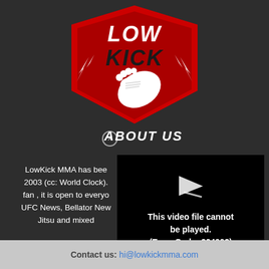[Figure (logo): LowKick MMA logo — red shield with black 'LOW KICK' text and a cartoon white foot kicking, with lightning bolts on the sides]
ABOUT US
LowKick MMA has bee... 2003 (cc: World Clock). fan , it is open to everyo... UFC News, Bellator New... Jitsu and mixed
[Figure (screenshot): Black video player error box with a play icon arrow and text: 'This video file cannot be played. (Error Code: 224003)']
Contact us: hi@lowkickmma.com